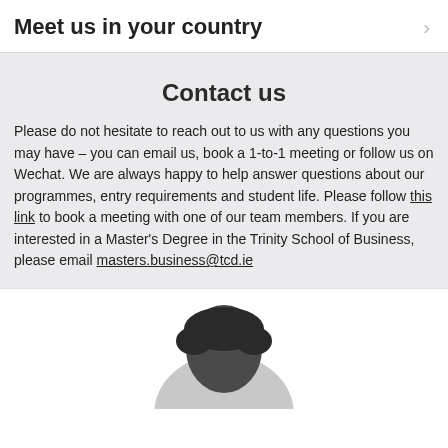Meet us in your country
Contact us
Please do not hesitate to reach out to us with any questions you may have – you can email us, book a 1-to-1 meeting or follow us on Wechat. We are always happy to help answer questions about our programmes, entry requirements and student life. Please follow this link to book a meeting with one of our team members. If you are interested in a Master's Degree in the Trinity School of Business, please email masters.business@tcd.ie
[Figure (photo): Partial photo of a person's head/hair at the bottom of the page]